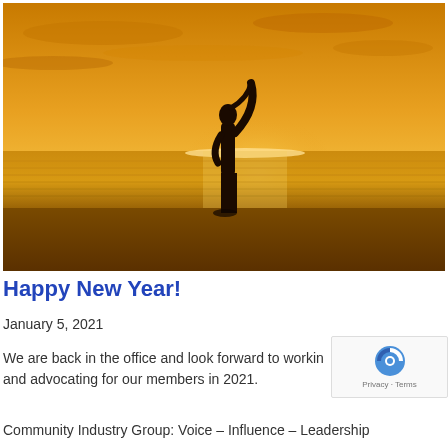[Figure (photo): Silhouette of a person doing a yoga or stretching pose with arms raised, standing on a beach at sunset with golden orange sky and reflective water in the background]
Happy New Year!
January 5, 2021
We are back in the office and look forward to working and advocating for our members in 2021.
Community Industry Group: Voice – Influence – Leadership